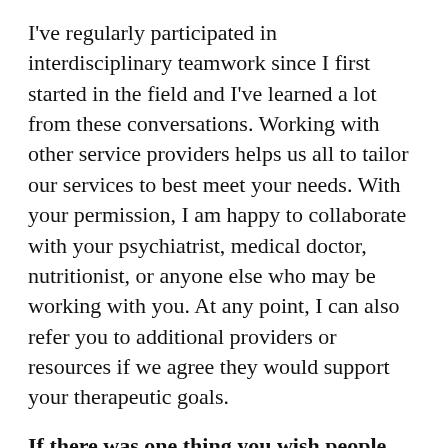I've regularly participated in interdisciplinary teamwork since I first started in the field and I've learned a lot from these conversations. Working with other service providers helps us all to tailor our services to best meet your needs. With your permission, I am happy to collaborate with your psychiatrist, medical doctor, nutritionist, or anyone else who may be working with you. At any point, I can also refer you to additional providers or resources if we agree they would support your therapeutic goals.
If there was one thing you wish people knew about the therapy experience who might be hesitant to try it, what would that be?
That it's normal to be hesitant or ambivalent! A